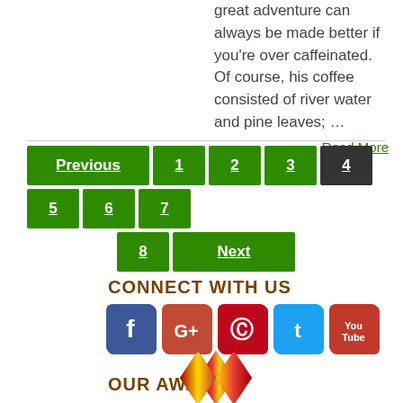great adventure can always be made better if you're over caffeinated. Of course, his coffee consisted of river water and pine leaves; …
Read More
Previous 1 2 3 4 5 6 7 8 Next (pagination)
CONNECT WITH US
[Figure (infographic): Social media icons: Facebook, Google+, Pinterest, Twitter, YouTube]
OUR AWARDS
[Figure (illustration): Award ribbon/medal with red and gold V-shape design]